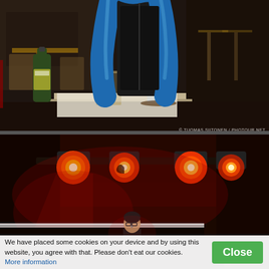[Figure (photo): A person in a blue and black latex/rubber outfit sitting at a bar or restaurant table. On the table are glasses of water and a dark beer bottle. The background shows a dimly lit interior with wooden furniture and stools. Watermark reads: © TUOMAS SIITONEN / PHOTOUR.NET]
[Figure (photo): A performer on stage under bright red stage lights. Multiple round red/orange spotlights illuminate the dark venue from above. A person stands center stage, appearing to hold a microphone. The background is dark with reddish ambient light.]
We have placed some cookies on your device and by using this website, you agree with that. Please don't eat our cookies.
More information